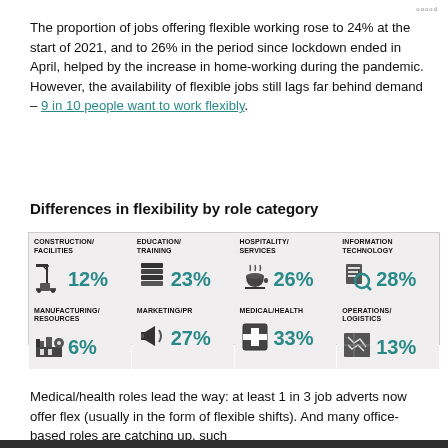ooood
The proportion of jobs offering flexible working rose to 24% at the start of 2021, and to 26% in the period since lockdown ended in April, helped by the increase in home-working during the pandemic. However, the availability of flexible jobs still lags far behind demand – 9 in 10 people want to work flexibly.
Differences in flexibility by role category
[Figure (infographic): Grid of 8 role categories with icons and percentage of jobs offering flexible working. Construction/Facilities 12%, Education/Training 23%, Hospitality/Services 26%, Information Technology 28%, Manufacturing/Resources 6%, Marketing/PR 27%, Medical/Health 33%, Operations/Logistics 13%.]
Medical/health roles lead the way: at least 1 in 3 job adverts now offer flex (usually in the form of flexible shifts). And many office-based roles are catching up, such